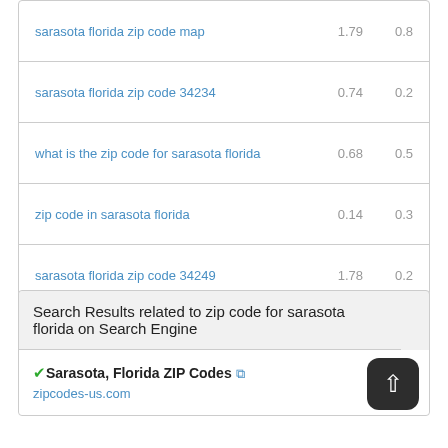| keyword | col1 | col2 |
| --- | --- | --- |
| sarasota florida zip code map | 1.79 | 0.8 |
| sarasota florida zip code 34234 | 0.74 | 0.2 |
| what is the zip code for sarasota florida | 0.68 | 0.5 |
| zip code in sarasota florida | 0.14 | 0.3 |
| sarasota florida zip code 34249 | 1.78 | 0.2 |
Search Results related to zip code for sarasota florida on Search Engine
✓Sarasota, Florida ZIP Codes 🔗
zipcodes-us.com